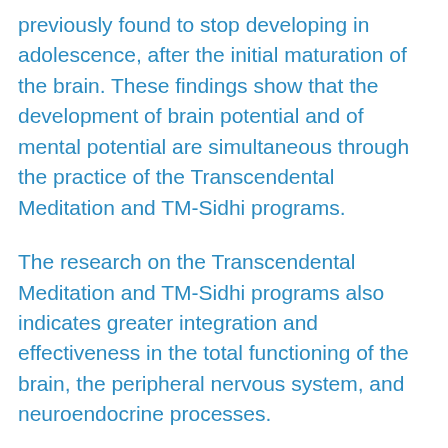previously found to stop developing in adolescence, after the initial maturation of the brain. These findings show that the development of brain potential and of mental potential are simultaneous through the practice of the Transcendental Meditation and TM-Sidhi programs.
The research on the Transcendental Meditation and TM-Sidhi programs also indicates greater integration and effectiveness in the total functioning of the brain, the peripheral nervous system, and neuroendocrine processes.